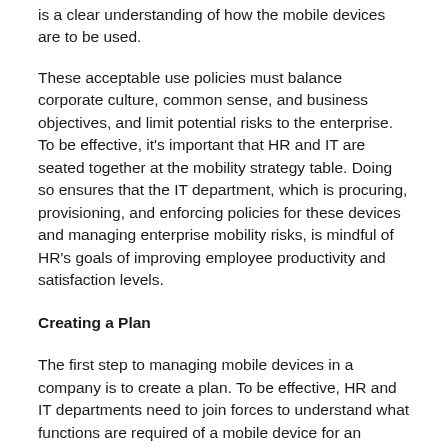is a clear understanding of how the mobile devices are to be used.
These acceptable use policies must balance corporate culture, common sense, and business objectives, and limit potential risks to the enterprise. To be effective, it's important that HR and IT are seated together at the mobility strategy table. Doing so ensures that the IT department, which is procuring, provisioning, and enforcing policies for these devices and managing enterprise mobility risks, is mindful of HR's goals of improving employee productivity and satisfaction levels.
Creating a Plan
The first step to managing mobile devices in a company is to create a plan. To be effective, HR and IT departments need to join forces to understand what functions are required of a mobile device for an employee to work efficiently, what they want their employees to use their devices for, and what device applications support these goals. Applications that can be distracting or pose a threat to a device or network integrity